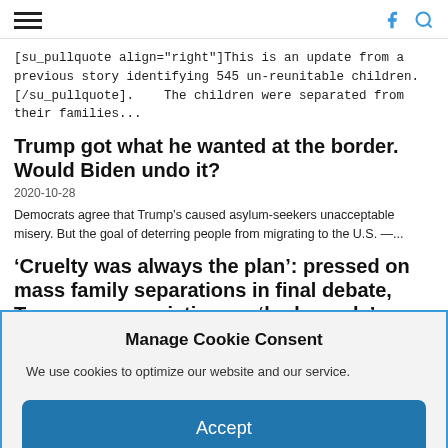[hamburger menu] [facebook icon] [search icon]
[su_pullquote align="right"]This is an update from a previous story identifying 545 un-reunitable children.[/su_pullquote].    The children were separated from their families...
Trump got what he wanted at the border. Would Biden undo it?
2020-10-28
Democrats agree that Trump’s caused asylum-seekers unacceptable misery. But the goal of deterring people from migrating to the U.S. —...
‘Cruelty was always the plan’: pressed on mass family separations in final debate, Trump smears victims as ‘bad people’
2020-10-23
Manage Cookie Consent
We use cookies to optimize our website and our service.
Accept